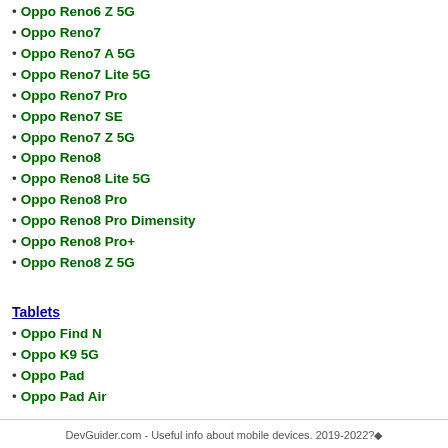Oppo Reno6 Z 5G
Oppo Reno7
Oppo Reno7 A 5G
Oppo Reno7 Lite 5G
Oppo Reno7 Pro
Oppo Reno7 SE
Oppo Reno7 Z 5G
Oppo Reno8
Oppo Reno8 Lite 5G
Oppo Reno8 Pro
Oppo Reno8 Pro Dimensity
Oppo Reno8 Pro+
Oppo Reno8 Z 5G
Tablets
Oppo Find N
Oppo K9 5G
Oppo Pad
Oppo Pad Air
DevGuider.com - Useful info about mobile devices. 2019-2022?◆